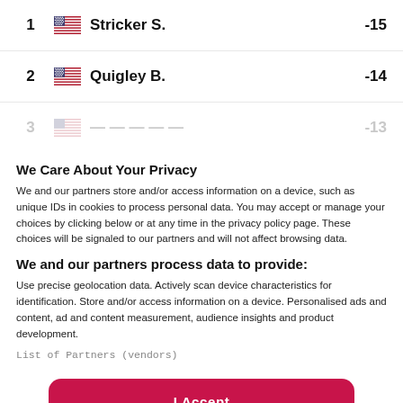| Rank | Flag | Name | Score |
| --- | --- | --- | --- |
| 1 | 🇺🇸 | Stricker S. | -15 |
| 2 | 🇺🇸 | Quigley B. | -14 |
| 3 | 🇺🇸 | ... | -13 |
We Care About Your Privacy
We and our partners store and/or access information on a device, such as unique IDs in cookies to process personal data. You may accept or manage your choices by clicking below or at any time in the privacy policy page. These choices will be signaled to our partners and will not affect browsing data.
We and our partners process data to provide:
Use precise geolocation data. Actively scan device characteristics for identification. Store and/or access information on a device. Personalised ads and content, ad and content measurement, audience insights and product development.
List of Partners (vendors)
I Accept
Reject All
Show Purposes